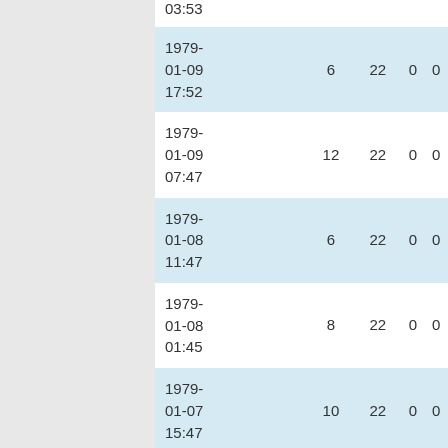| date | col1 | col2 | col3 | col4 |
| --- | --- | --- | --- | --- |
| 03:53 |  |  |  |  |
| 1979-01-09 17:52 | 6 | 22 | 0 | 0 |
| 1979-01-09 07:47 | 12 | 22 | 0 | 0 |
| 1979-01-08 11:47 | 6 | 22 | 0 | 0 |
| 1979-01-08 01:45 | 8 | 22 | 0 | 0 |
| 1979-01-07 15:47 | 10 | 22 | 0 | 0 |
| 1979- | 11 | 22 | 0 | 0 |